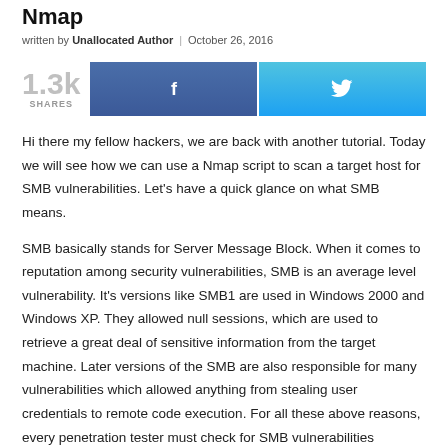Nmap
written by Unallocated Author | October 26, 2016
[Figure (infographic): Social share bar showing 1.3k shares, Facebook share button, and Twitter share button]
Hi there my fellow hackers, we are back with another tutorial. Today we will see how we can use a Nmap script to scan a target host for SMB vulnerabilities. Let's have a quick glance on what SMB means.
SMB basically stands for Server Message Block. When it comes to reputation among security vulnerabilities, SMB is an average level vulnerability. It's versions like SMB1 are used in Windows 2000 and Windows XP. They allowed null sessions, which are used to retrieve a great deal of sensitive information from the target machine. Later versions of the SMB are also responsible for many vulnerabilities which allowed anything from stealing user credentials to remote code execution. For all these above reasons, every penetration tester must check for SMB vulnerabilities